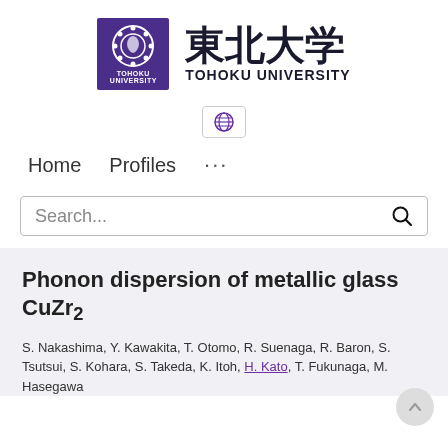[Figure (logo): Tohoku University logo: purple square with globe/ring emblem and TOHOKU UNIVERSITY text, followed by Japanese kanji 東北大学 and TOHOKU UNIVERSITY in Latin letters]
[Figure (other): Small globe icon button (language selector)]
Home   Profiles   ...
Search...
Phonon dispersion of metallic glass CuZr₂
S. Nakashima, Y. Kawakita, T. Otomo, R. Suenaga, R. Baron, S. Tsutsui, S. Kohara, S. Takeda, K. Itoh, H. Kato, T. Fukunaga, M. Hasegawa